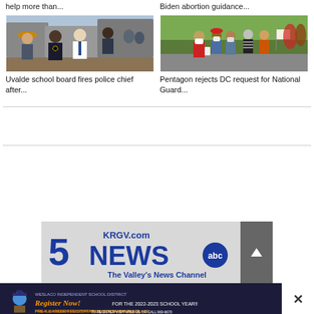help more than...
Biden abortion guidance...
[Figure (photo): Law enforcement officers in uniform conversing outdoors near vehicles]
[Figure (photo): Group of people wearing face masks standing outdoors, some holding items]
Uvalde school board fires police chief after...
Pentagon rejects DC request for National Guard...
[Figure (logo): KRGV.com 5 NEWS abc - The Valley's News Channel advertisement banner]
[Figure (infographic): Weslaco Independent School District registration advertisement - Register Now for the 2022-2023 School Year, Pre-K & Kinder registration is now taking place, to register visit WISD.US or call 969-6670]